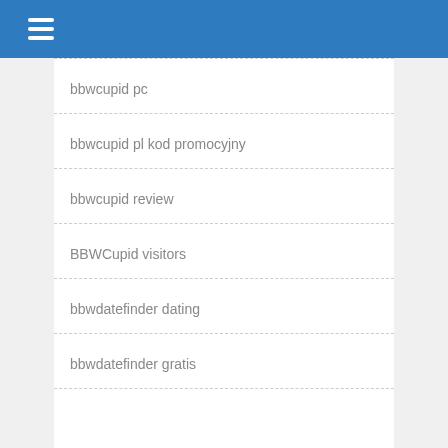bbwcupid pc
bbwcupid pl kod promocyjny
bbwcupid review
BBWCupid visitors
bbwdatefinder dating
bbwdatefinder gratis